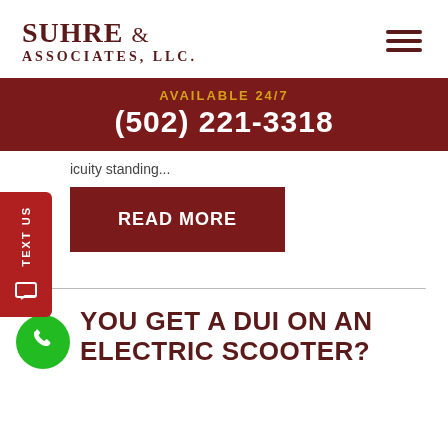SUHRE & ASSOCIATES, LLC
AVAILABLE 24/7
(502) 221-3318
icuity standing...
READ MORE
YOU GET A DUI ON AN ELECTRIC SCOOTER?